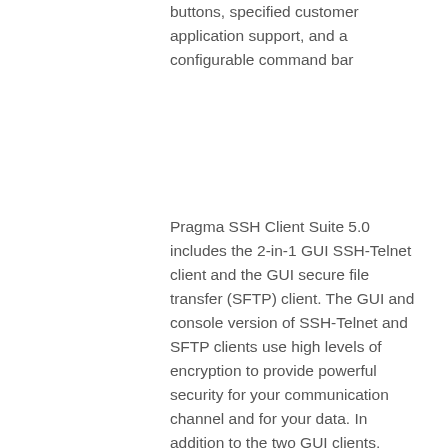buttons, specified customer application support, and a configurable command bar
Pragma SSH Client Suite 5.0 includes the 2-in-1 GUI SSH-Telnet client and the GUI secure file transfer (SFTP) client. The GUI and console version of SSH-Telnet and SFTP clients use high levels of encryption to provide powerful security for your communication channel and for your data. In addition to the two GUI clients, Pragma SSH Client Suite also includes robust console ssh, telnet and sftp clients and a variety of useful